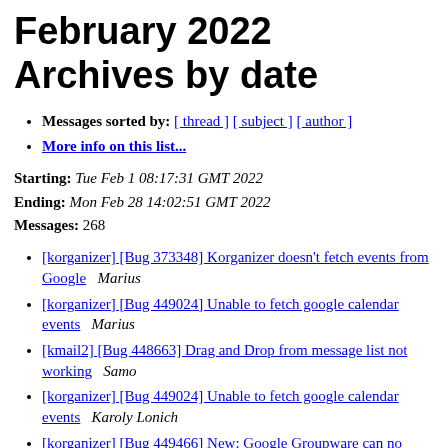February 2022 Archives by date
Messages sorted by: [ thread ] [ subject ] [ author ]
More info on this list...
Starting: Tue Feb 1 08:17:31 GMT 2022
Ending: Mon Feb 28 14:02:51 GMT 2022
Messages: 268
[korganizer] [Bug 373348] Korganizer doesn't fetch events from Google   Marius
[korganizer] [Bug 449024] Unable to fetch google calendar events   Marius
[kmail2] [Bug 448663] Drag and Drop from message list not working   Samo
[korganizer] [Bug 449024] Unable to fetch google calendar events   Karoly Lonich
[korganizer] [Bug 449466] New: Google Groupware can no longer be included as Calendar!   B. Scheichl
[korganizer] [Bug 449466] Google Groupware can no longer be included as Calendar!   B. Scheichl
[korganizer] [Bug 449466] Google Groupware can no longer...